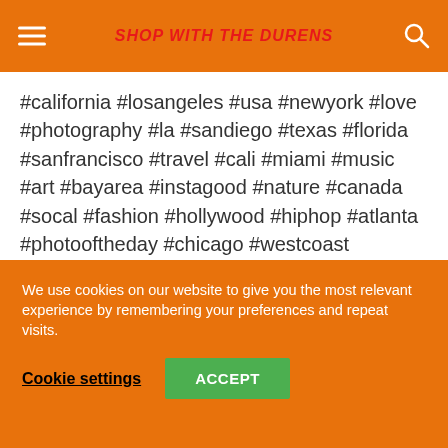SHOP WITH THE DURENS
#california #losangeles #usa #newyork #love #photography #la #sandiego #texas #florida #sanfrancisco #travel #cali #miami #music #art #bayarea #instagood #nature #canada #socal #fashion #hollywood #hiphop #atlanta #photooftheday #chicago #westcoast #instagram #explore
We use cookies on our website to give you the most relevant experience by remembering your preferences and repeat visits.
Cookie settings   ACCEPT